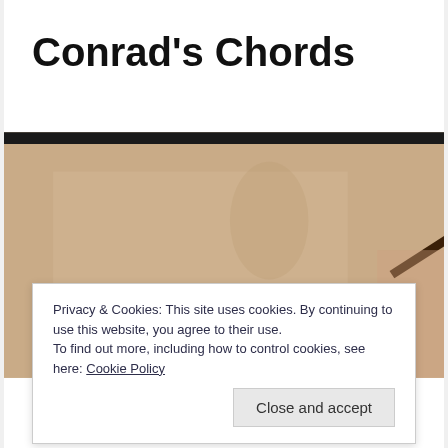Conrad's Chords
[Figure (photo): Close-up photo of a hand playing guitar strings, with blurred brownish/tan background]
Privacy & Cookies: This site uses cookies. By continuing to use this website, you agree to their use.
To find out more, including how to control cookies, see here: Cookie Policy
Close and accept